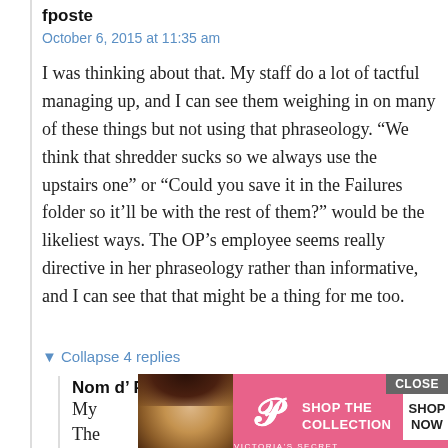fposte
October 6, 2015 at 11:35 am
I was thinking about that. My staff do a lot of tactful managing up, and I can see them weighing in on many of these things but not using that phraseology. “We think that shredder sucks so we always use the upstairs one” or “Could you save it in the Failures folder so it’ll be with the rest of them?” would be the likeliest ways. The OP’s employee seems really directive in her phraseology rather than informative, and I can see that that might be a thing for me too.
▼ Collapse 4 replies
Nom d’ Pixel
October 6, 2015 at 11:44 am
My ... e up. The ... right.
[Figure (screenshot): Victoria's Secret advertisement overlay with model photo, VS logo, 'SHOP THE COLLECTION' text, 'SHOP NOW' button, and 'CLOSE' button]